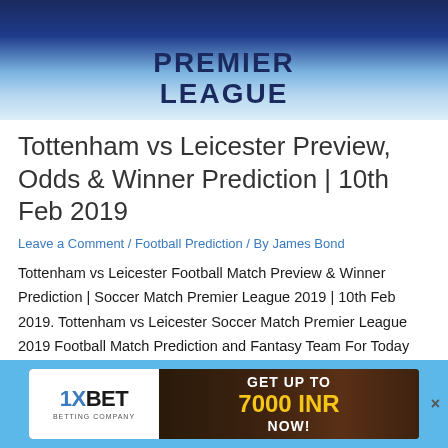[Figure (illustration): Premier League banner with dark blue to light blue gradient background and 'PREMIER LEAGUE' text in bold dark blue letters]
Tottenham vs Leicester Preview, Odds & Winner Prediction | 10th Feb 2019
Leave a Comment / Football Prediction / By James Bond
Tottenham vs Leicester Football Match Preview & Winner Prediction | Soccer Match Premier League 2019 | 10th Feb 2019. Tottenham vs Leicester Soccer Match Premier League 2019 Football Match Prediction and Fantasy Team For Today Match 10th Feb 2019 At -Wembley Stadium. Get Tottenham vs Leicester
[Figure (illustration): 1XBET advertisement banner: white logo area on left with '1XBET BETTING COMPANY', dark background on right with text 'GET UP TO 7000 INR NOW!' in white and yellow. Blue background surround.]